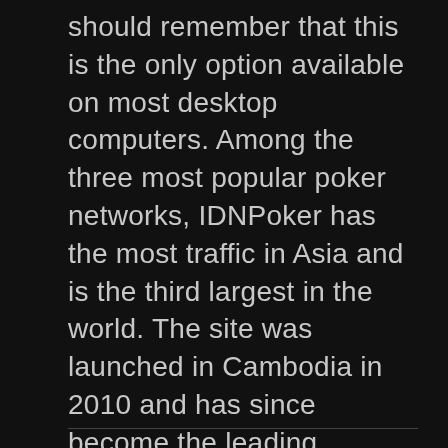should remember that this is the only option available on most desktop computers. Among the three most popular poker networks, IDNPoker has the most traffic in Asia and is the third largest in the world. The site was launched in Cambodia in 2010 and has since become the leading network in Asia. It focuses on Malaysia, Indonesia, and China, and holds a BMM RNG certificate. Hence, players in these countries are safe in playing poker at IDNPoker. And if you're thinking of trying the game for the first time, this site will be a good choice.